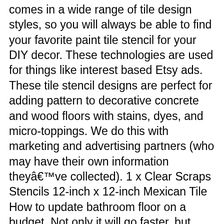comes in a wide range of tile design styles, so you will always be able to find your favorite paint tile stencil for your DIY decor. These technologies are used for things like interest based Etsy ads. These tile stencil designs are perfect for adding pattern to decorative concrete and wood floors with stains, dyes, and micro-toppings. We do this with marketing and advertising partners (who may have their own information they've collected). 1 x Clear Scraps Stencils 12-inch x 12-inch Mexican Tile How to update bathroom floor on a budget. Not only it will go faster, but you'll be able to get into tighter places and corners by cutting your spare tile stencil. Refresh your tile floor, linoleum, or backsplash with tile stencils. Dec 28, 2017 - SomerTile 13x13-inch Fonthill Abbey Rian Ceramic Floor and Wall Tile (Case of 10) Amalfi Tile Stencil - Cement TILE STENCILS for DIY Painted Tiles - Reusable Tile Stencils for Home Makeover - Paint Your Old Tile and Save! Disponible. Or you can bring a new life for an ugly linoleum! You can certainly bend your stencil and still get to all the tight spots, but you know what we're sayin' - having two stencils